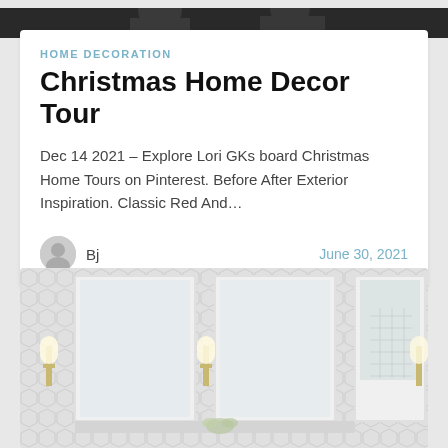[Figure (photo): Dark top banner image, partial view of people]
HOME DECORATION
Christmas Home Decor Tour
Dec 14 2021 – Explore Lori GKs board Christmas Home Tours on Pinterest. Before After Exterior Inspiration. Classic Red And…
Bj
June 30, 2021
[Figure (photo): Bathroom interior with hexagon tile walls, white framed mirrors, wall sconces, and a glass shower]